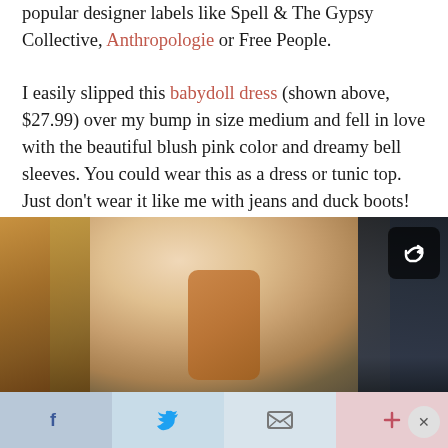popular designer labels like Spell & The Gypsy Collective, Anthropologie or Free People.

I easily slipped this babydoll dress (shown above, $27.99) over my bump in size medium and fell in love with the beautiful blush pink color and dreamy bell sleeves. You could wear this as a dress or tunic top. Just don't wear it like me with jeans and duck boots! Haha! Wear with ankle boots like this pair (so so good). You can wear before and after the bump which is great. Not really nursing-friendly but fine for that photoshoot or date night.
[Figure (photo): Woman taking a selfie in a store dressing room or clothing section, holding a phone with an orange/gold case. Clothing racks with floral garments visible in the background. A share icon appears in the top right corner of the image.]
Social sharing bar with Facebook, Twitter, Email, and Plus buttons, and a close (×) button